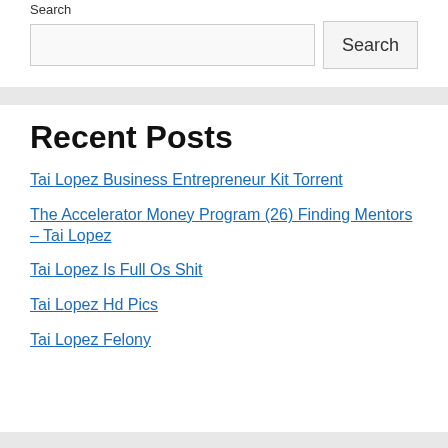Search
Recent Posts
Tai Lopez Business Entrepreneur Kit Torrent
The Accelerator Money Program (26) Finding Mentors – Tai Lopez
Tai Lopez Is Full Os Shit
Tai Lopez Hd Pics
Tai Lopez Felony